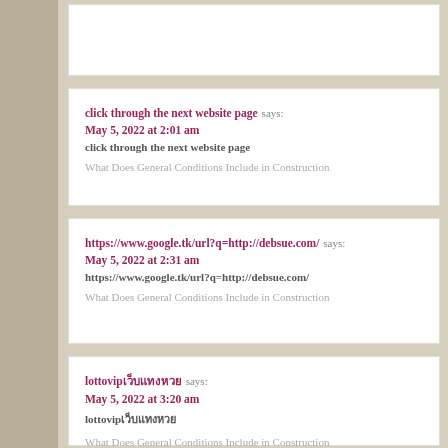click through the next website page says:
May 5, 2022 at 2:01 am
click through the next website page

What Does General Conditions Include in Construction
https://www.google.tk/url?q=http://debsue.com/ says:
May 5, 2022 at 2:31 am
https://www.google.tk/url?q=http://debsue.com/

What Does General Conditions Include in Construction
lottovip says:
May 5, 2022 at 3:20 am
lottovip

What Does General Conditions Include in Construction